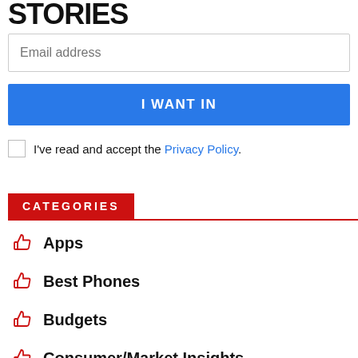STORIES
Email address
I WANT IN
I've read and accept the Privacy Policy.
CATEGORIES
Apps
Best Phones
Budgets
Consumer/Market Insights